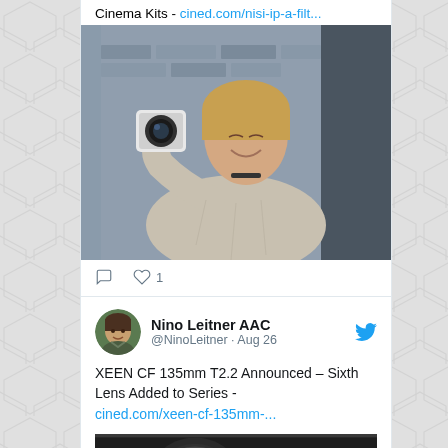Cinema Kits - cined.com/nisi-ip-a-filt...
[Figure (photo): Woman holding a camera lens / smartphone camera attachment, smiling, outdoors against brick wall]
♡ 1
Nino Leitner AAC @NinoLeitner · Aug 26
XEEN CF 135mm T2.2 Announced – Sixth Lens Added to Series - cined.com/xeen-cf-135mm-...
[Figure (photo): Close-up of a cinema lens (XEEN CF 135mm) on dark background]